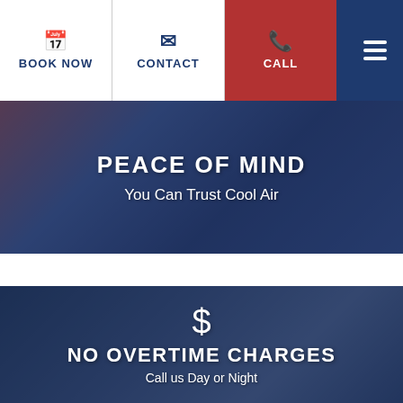BOOK NOW | CONTACT | CALL
PEACE OF MIND
You Can Trust Cool Air
NO OVERTIME CHARGES
Call us Day or Night